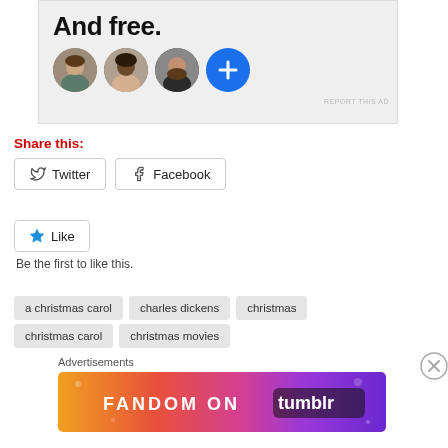[Figure (screenshot): Advertisement banner with text 'And free.' and four circular avatars (three person photos and a blue plus button) on a light gray background with 'REPORT THIS AD' link]
Share this:
Twitter
Facebook
Like
Be the first to like this.
a christmas carol
charles dickens
christmas
christmas carol
christmas movies
Advertisements
[Figure (screenshot): Fandom on Tumblr advertisement banner with colorful gradient background (orange to purple) and white text 'FANDOM ON tumblr']